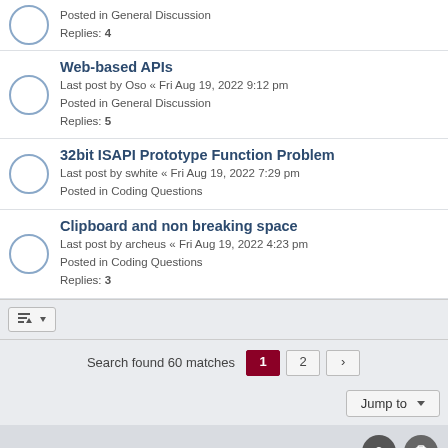Posted in General Discussion
Replies: 4
Web-based APIs
Last post by Oso « Fri Aug 19, 2022 9:12 pm
Posted in General Discussion
Replies: 5
32bit ISAPI Prototype Function Problem
Last post by swhite « Fri Aug 19, 2022 7:29 pm
Posted in Coding Questions
Clipboard and non breaking space
Last post by archeus « Fri Aug 19, 2022 4:23 pm
Posted in Coding Questions
Replies: 3
Search found 60 matches  1  2  >
Jump to
ProLight Style by Ian Bradley
Powered by phpBB® Forum Software © phpBB Limited
Privacy | Terms